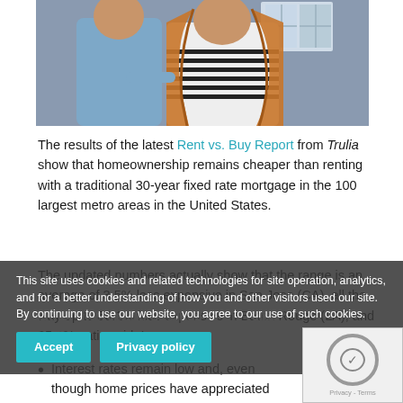[Figure (photo): A man and woman smiling in front of a house/building. The woman has long wavy hair and wears a striped top; the man wears a light blue shirt.]
The results of the latest Rent vs. Buy Report from Trulia show that homeownership remains cheaper than renting with a traditional 30-year fixed rate mortgage in the 100 largest metro areas in the United States.
The updated numbers actually show that the range is an average of 3.5% less expensive in San Jose (CA), all the way up to 50.1% less expensive in Baton Rouge (LA), and 35.1% nationwide!
Other interesting findings in the report include:
Interest rates remain low and, even though home prices have appreciated around